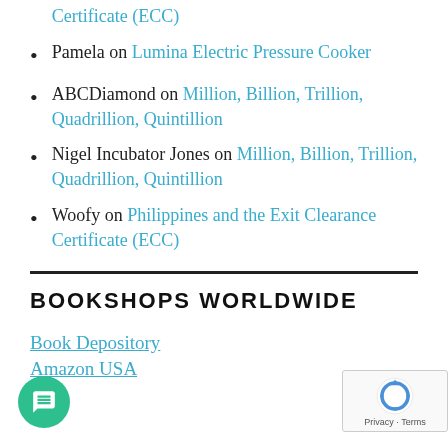Certificate (ECC) [partial, link]
Pamela on Lumina Electric Pressure Cooker
ABCDiamond on Million, Billion, Trillion, Quadrillion, Quintillion
Nigel Incubator Jones on Million, Billion, Trillion, Quadrillion, Quintillion
Woofy on Philippines and the Exit Clearance Certificate (ECC)
BOOKSHOPS WORLDWIDE
Book Depository
Amazon USA